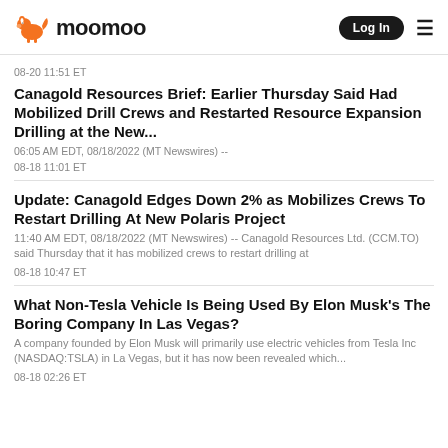moomoo | Log In
08-20 11:51 ET
Canagold Resources Brief: Earlier Thursday Said Had Mobilized Drill Crews and Restarted Resource Expansion Drilling at the New...
06:05 AM EDT, 08/18/2022 (MT Newswires) --
08-18 11:01 ET
Update: Canagold Edges Down 2% as Mobilizes Crews To Restart Drilling At New Polaris Project
11:40 AM EDT, 08/18/2022 (MT Newswires) -- Canagold Resources Ltd. (CCM.TO) said Thursday that it has mobilized crews to restart drilling at
08-18 10:47 ET
What Non-Tesla Vehicle Is Being Used By Elon Musk's The Boring Company In Las Vegas?
A company founded by Elon Musk will primarily use electric vehicles from Tesla Inc (NASDAQ:TSLA) in La Vegas, but it has now been revealed which...
08-18 02:26 ET